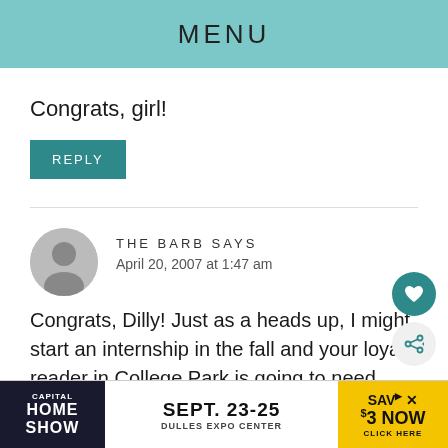MENU
Congrats, girl!
REPLY
THE BARB SAYS
April 20, 2007 at 1:47 am
Congrats, Dilly! Just as a heads up, I might start an internship in the fall and your loyal reader in College Park is going to need some fa...
[Figure (other): Advertisement banner: Capital Home Show, Sept. 23-25, Dulles Expo Center, Save $3 Now, Click Here]